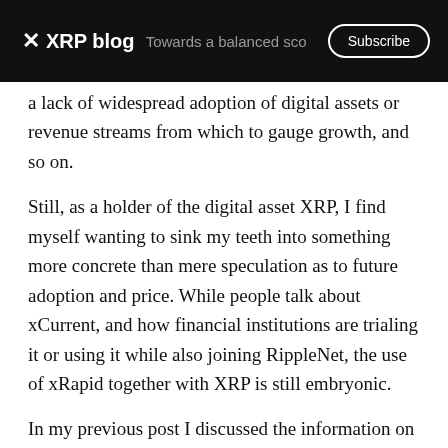✕ XRP blog | Towards a balanced sco… | Subscribe
a lack of widespread adoption of digital assets or revenue streams from which to gauge growth, and so on.
Still, as a holder of the digital asset XRP, I find myself wanting to sink my teeth into something more concrete than mere speculation as to future adoption and price. While people talk about xCurrent, and how financial institutions are trialing it or using it while also joining RippleNet, the use of xRapid together with XRP is still embryonic.
In my previous post I discussed the information on XRPCharts⁷, raised some questions, and offered some